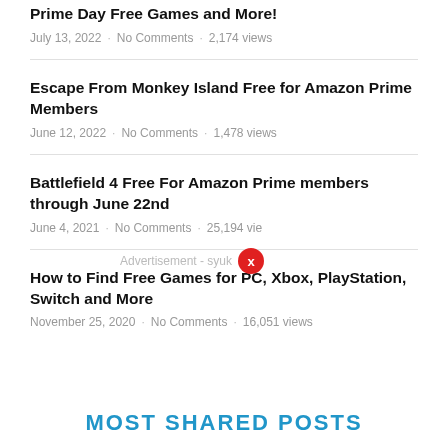Prime Day Free Games and More!
July 13, 2022 · No Comments · 2,174 views
Escape From Monkey Island Free for Amazon Prime Members
June 12, 2022 · No Comments · 1,478 views
Battlefield 4 Free For Amazon Prime members through June 22nd
June 4, 2021 · No Comments · 25,194 views
How to Find Free Games for PC, Xbox, PlayStation, Switch and More
November 25, 2020 · No Comments · 16,051 views
MOST SHARED POSTS